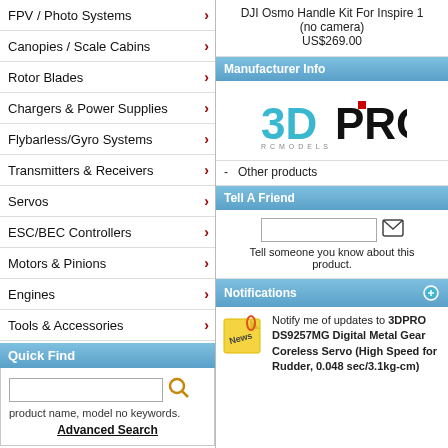FPV / Photo Systems >
Canopies / Scale Cabins >
Rotor Blades >
Chargers & Power Supplies >
Flybarless/Gyro Systems >
Transmitters & Receivers >
Servos >
ESC/BEC Controllers >
Motors & Pinions >
Engines >
Tools & Accessories >
Quick Find
product name, model no keywords.
Advanced Search
Manufacturers
Please Select
DJI Osmo Handle Kit For Inspire 1 (no camera)
US$269.00
Manufacturer Info
[Figure (logo): 3DPRO logo in teal/black with red dot]
- Other products
Tell A Friend
Tell someone you know about this product.
Notifications
Notify me of updates to 3DPRO DS9257MG Digital Metal Gear Coreless Servo (High Speed for Rudder, 0.048 sec/3.1kg-cm)